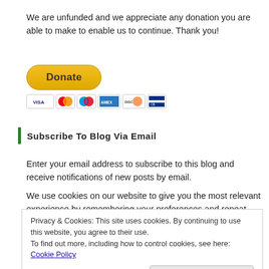We are unfunded and we appreciate any donation you are able to make to enable us to continue. Thank you!
[Figure (other): PayPal Donate button (yellow oval) followed by payment card icons: Visa, Mastercard, Maestro, American Express, Discover, and another card.]
Subscribe To Blog Via Email
Enter your email address to subscribe to this blog and receive notifications of new posts by email.
We use cookies on our website to give you the most relevant experience by remembering your preferences and repeat
Privacy & Cookies: This site uses cookies. By continuing to use this website, you agree to their use.
To find out more, including how to control cookies, see here: Cookie Policy
Close and accept